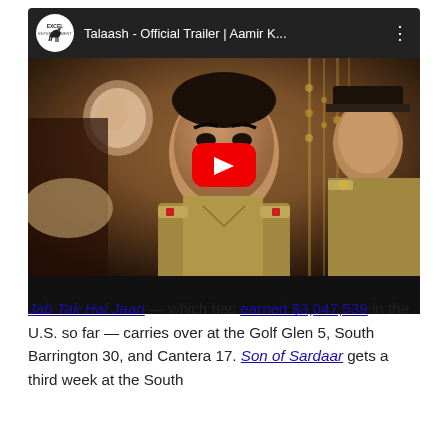[Figure (screenshot): YouTube video embed showing 'Talaash - Official Trailer | Aamir K...' with Excel Entertainment logo, a movie still of actors in police uniforms, and a red play button overlay.]
Jab Tak Hai Jaan — which has earned $3,047,539 in the U.S. so far — carries over at the Golf Glen 5, South Barrington 30, and Cantera 17. Son of Sardaar gets a third week at the South Barrington 30 with U.S. earnings of $710,774...